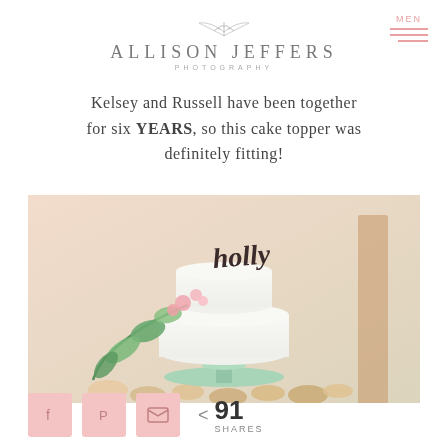ALLISON JEFFERS PHOTOGRAPHY
Kelsey and Russell have been together for six YEARS, so this cake topper was definitely fitting!
[Figure (photo): A white wedding cake on a mint green pedestal decorated with cascading greenery and pink flowers, with a cursive 'holly' cake topper. Surrounded by small cupcakes on a wooden surface with a blurred wooden barn background.]
< 91 SHARES